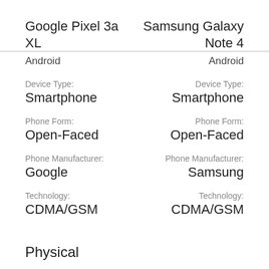Google Pixel 3a XL
Samsung Galaxy Note 4
Android
Android
Device Type: Smartphone
Device Type: Smartphone
Phone Form: Open-Faced
Phone Form: Open-Faced
Phone Manufacturer: Google
Phone Manufacturer: Samsung
Technology: CDMA/GSM
Technology: CDMA/GSM
Physical